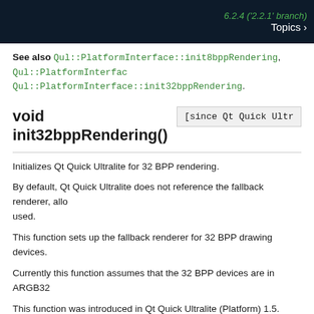6.2.4 ('2.2.1' branch)  Topics >
See also Qul::PlatformInterface::init8bppRendering, Qul::PlatformInterface::init32bppRendering.
void init32bppRendering()  [since Qt Quick Ultr
Initializes Qt Quick Ultralite for 32 BPP rendering.
By default, Qt Quick Ultralite does not reference the fallback renderer, allo used.
This function sets up the fallback renderer for 32 BPP drawing devices.
Currently this function assumes that the 32 BPP devices are in ARGB32
This function was introduced in Qt Quick Ultralite (Platform) 1.5.
See also Qul::PlatformInterface::init8bppRendering, Qul::PlatformInterface::init16bppRendering.